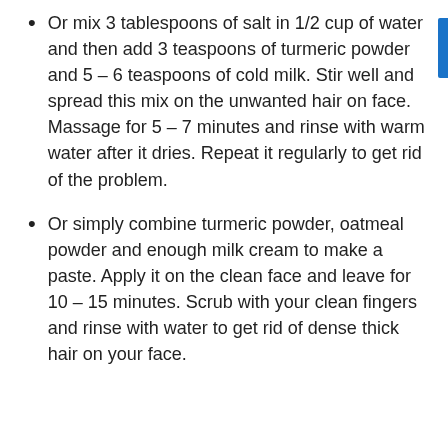Or mix 3 tablespoons of salt in 1/2 cup of water and then add 3 teaspoons of turmeric powder and 5 – 6 teaspoons of cold milk. Stir well and spread this mix on the unwanted hair on face. Massage for 5 – 7 minutes and rinse with warm water after it dries. Repeat it regularly to get rid of the problem.
Or simply combine turmeric powder, oatmeal powder and enough milk cream to make a paste. Apply it on the clean face and leave for 10 – 15 minutes. Scrub with your clean fingers and rinse with water to get rid of dense thick hair on your face.